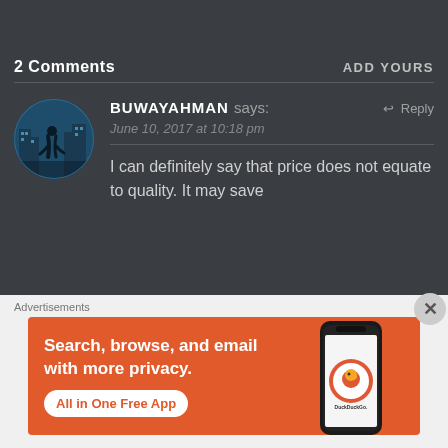2 Comments
ADD YOURS
BUWAYAHMAN says:
June 10, 2017 at 10:18 pm
Reply
I can definitely say that price does not equate to quality. It may save
Advertisements
[Figure (illustration): DuckDuckGo advertisement banner showing phone with app: 'Search, browse, and email with more privacy. All in One Free App']